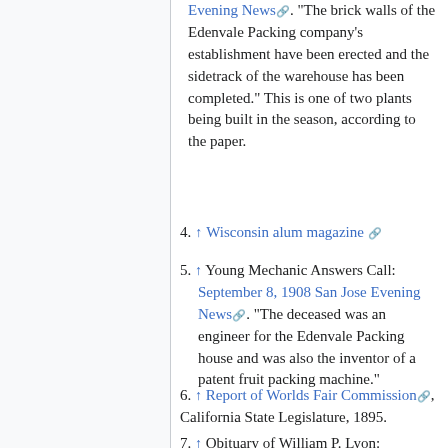↑ Evening News. "The brick walls of the Edenvale Packing company's establishment have been erected and the sidetrack of the warehouse has been completed." This is one of two plants being built in the season, according to the paper.
4. ↑ Wisconsin alum magazine
5. ↑ Young Mechanic Answers Call: September 8, 1908 San Jose Evening News. "The deceased was an engineer for the Edenvale Packing house and was also the inventor of a patent fruit packing machine."
6. ↑ Report of Worlds Fair Commission, California State Legislature, 1895.
7. ↑ Obituary of William P. Lyon: